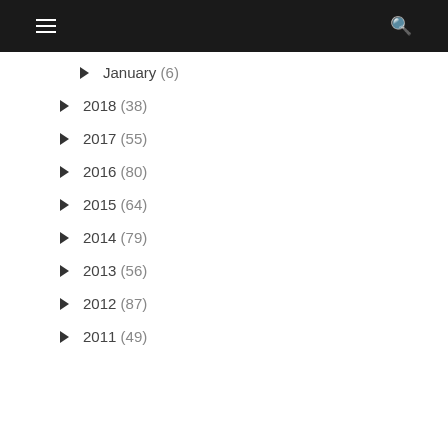☰ 🔍
January (6)
2018 (38)
2017 (55)
2016 (80)
2015 (64)
2014 (79)
2013 (56)
2012 (87)
2011 (49)